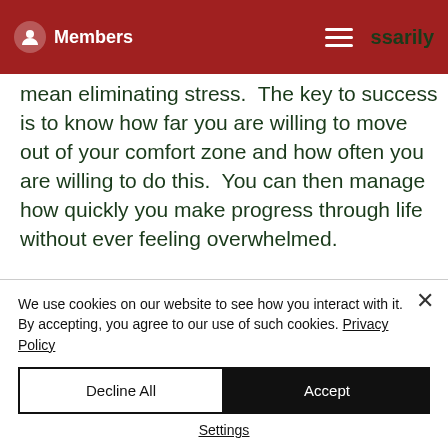Members
mean eliminating stress.  The key to success is to know how far you are willing to move out of your comfort zone and how often you are willing to do this.  You can then manage how quickly you make progress through life without ever feeling overwhelmed.
4. Be a Team Player...
We use cookies on our website to see how you interact with it. By accepting, you agree to our use of such cookies. Privacy Policy
Decline All
Accept
Settings